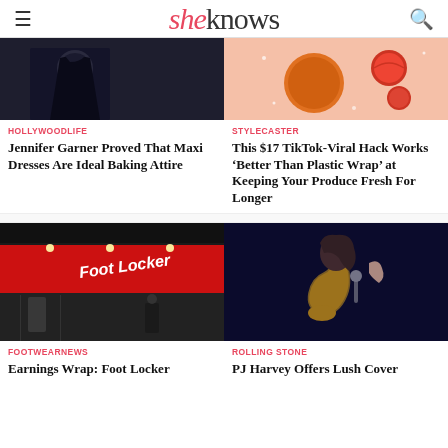sheknows
[Figure (photo): Woman in black maxi dress, dark background]
[Figure (photo): Pink background with orange round container and tomato slices]
HOLLYWOODLIFE
STYLECASTER
Jennifer Garner Proved That Maxi Dresses Are Ideal Baking Attire
This $17 TikTok-Viral Hack Works ‘Better Than Plastic Wrap’ at Keeping Your Produce Fresh For Longer
[Figure (photo): Foot Locker store exterior with red sign, shoppers inside mall]
[Figure (photo): PJ Harvey performing on stage with saxophone, dark background]
FOOTWEARNEWS
ROLLING STONE
Earnings Wrap: Foot Locker
PJ Harvey Offers Lush Cover